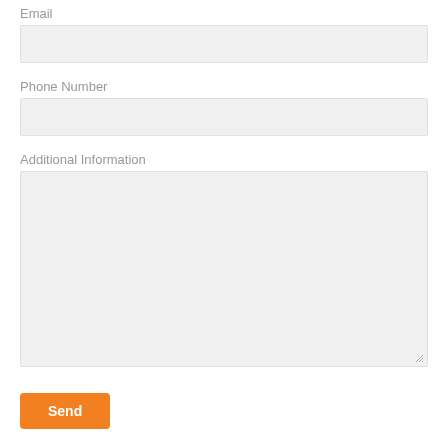Email
Phone Number
Additional Information
Send